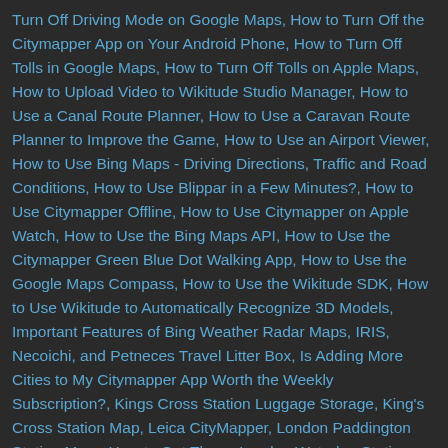Turn Off Driving Mode on Google Maps, How to Turn Off the Citymapper App on Your Android Phone, How to Turn Off Tolls in Google Maps, How to Turn Off Tolls on Apple Maps, How to Upload Video to Wikitude Studio Manager, How to Use a Canal Route Planner, How to Use a Caravan Route Planner to Improve the Game, How to Use an Airport Viewer, How to Use Bing Maps - Driving Directions, Traffic and Road Conditions, How to Use Blippar in a Few Minutes?, How to Use Citymapper Offline, How to Use Citymapper on Apple Watch, How to Use the Bing Maps API, How to Use the Citymapper Green Blue Dot Walking App, How to Use the Google Maps Compass, How to Use the Wikitude SDK, How to Use Wikitude to Automatically Recognize 3D Models, Important Features of Bing Weather Radar Maps, IRIS, Necoichi, and Petneces Travel Litter Box, Is Adding More Cities to My Citymapper App Worth the Weekly Subscription?, Kings Cross Station Luggage Storage, King's Cross Station Map, Leica CityMapper, London Paddington Station Map - How to Get There, London Waterloo Station, Luggage Storage Near St Pancras Station, Manchester Piccadilly Station, Mapbox Vs Carto, Megabus Cancellation - How to Get a Refund, Megabus Reviews - What to Look For in a Megabus Review, Megabus Wi-Fi, Moovit, Citymapper, and KakaoTaxi Work in Seoul?, Multithreaded Rendering in Wikitude, Old Version of Bing Maps, Packing Tips For Business Travel, Recurrence of Citymapper in Google Calendar...